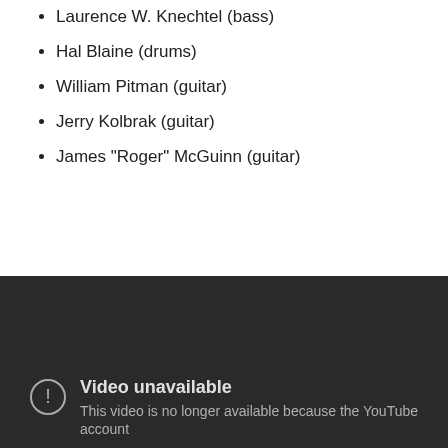Laurence W. Knechtel (bass)
Hal Blaine (drums)
William Pitman (guitar)
Jerry Kolbrak (guitar)
James "Roger" McGuinn (guitar)
JazzWax clip: Here's the Byrds' Mr. Tambourine Man in 196 with Roger McGuinn and Hal Blaine and the Wrecking Crew. Bob Dylan cover changed rock and folk in one fell swoop and ushered in a new era, giving California rock a more laid-back, reflective sound and encouraging more artists to write their ow songs...
[Figure (screenshot): Embedded YouTube video player showing 'Video unavailable' message. Text reads: 'Video unavailable. This video is no longer available because the YouTube account']